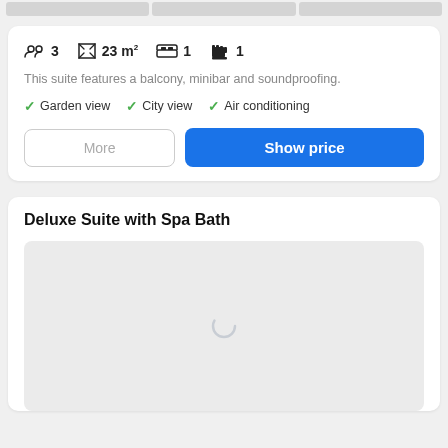[Figure (screenshot): Top partial image strip showing three gray placeholder image blocks]
3  23 m²  1  1
This suite features a balcony, minibar and soundproofing.
✓ Garden view  ✓ City view  ✓ Air conditioning
More   Show price
Deluxe Suite with Spa Bath
[Figure (photo): Gray placeholder image with a loading spinner in the center]